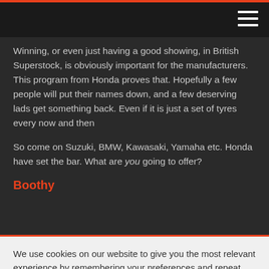Winning, or even just having a good showing, in British Superstock, is obviously important for the manufacturers. This program from Honda proves that. Hopefully a few people will put their names down, and a few deserving lads get something back. Even if it is just a set of tyres every now and then
So come on Suzuki, BMW, Kawasaki, Yamaha etc. Honda have set the bar. What are you going to offer?
Boothy
We use cookies on our website to give you the most relevant experience by remembering your preferences and repeat visits. By clicking "Accept", you consent to the use of ALL the cookies.